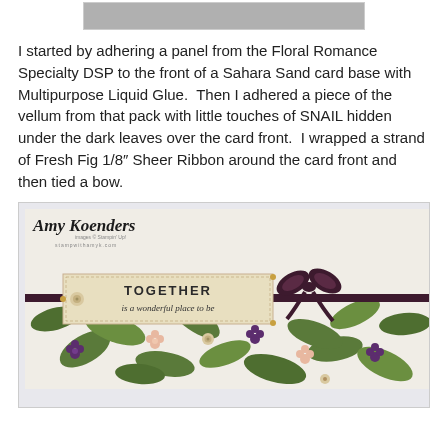[Figure (photo): Top partial image — gray rectangle placeholder at top of page]
I started by adhering a panel from the Floral Romance Specialty DSP to the front of a Sahara Sand card base with Multipurpose Liquid Glue.  Then I adhered a piece of the vellum from that pack with little touches of SNAIL hidden under the dark leaves over the card front.  I wrapped a strand of Fresh Fig 1/8″ Sheer Ribbon around the card front and then tied a bow.
[Figure (photo): Photo of a handmade card with floral patterned paper (green leaves and purple/pink flowers), a dark purple ribbon tied in a bow, a cream sentiment tag reading 'TOGETHER is a wonderful place to be', and the Amy Koenders stampwithamyk.com watermark logo in the upper left corner.]